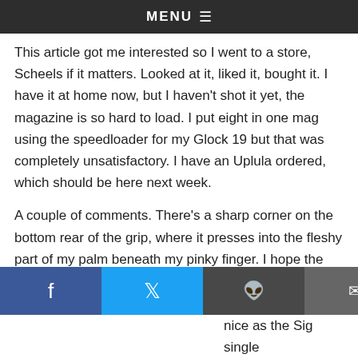MENU ☰
This article got me interested so I went to a store, Scheels if it matters. Looked at it, liked it, bought it. I have it at home now, but I haven't shot it yet, the magazine is so hard to load. I put eight in one mag using the speedloader for my Glock 19 but that was completely unsatisfactory. I have an Uplula ordered, which should be here next week.
A couple of comments. There's a sharp corner on the bottom rear of the grip, where it presses into the fleshy part of my palm beneath my pinky finger. I hope the recoil doesn't drive it into my hand too painfully. My Glock 43 is more rounded there.
nice as the Sig single